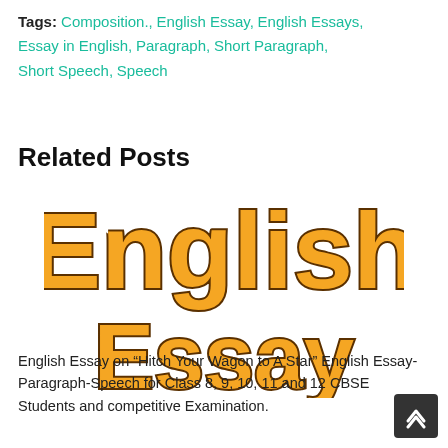Tags: Composition., English Essay, English Essays, Essay in English, Paragraph, Short Paragraph, Short Speech, Speech
Related Posts
[Figure (illustration): Decorative logo image with large orange outlined bold text 'English' on top and 'Essay' below it, with brown/dark outline, on white background.]
English Essay on “Hitch Your Wagon to A Star” English Essay-Paragraph-Speech for Class 8, 9, 10, 11 and 12 CBSE Students and competitive Examination.